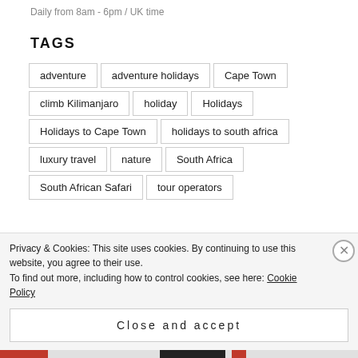Daily from 8am - 6pm / UK time
TAGS
adventure
adventure holidays
Cape Town
climb Kilimanjaro
holiday
Holidays
Holidays to Cape Town
holidays to south africa
luxury travel
nature
South Africa
South African Safari
tour operators
Privacy & Cookies: This site uses cookies. By continuing to use this website, you agree to their use.
To find out more, including how to control cookies, see here: Cookie Policy
Close and accept